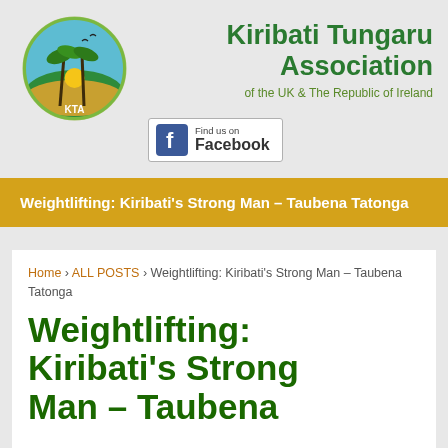[Figure (logo): Kiribati Tungaru Association circular logo with palm trees, sunset, and KTA text]
Kiribati Tungaru Association
of the UK & The Republic of Ireland
[Figure (screenshot): Find us on Facebook button with Facebook logo]
Weightlifting: Kiribati's Strong Man – Taubena Tatonga
Home › ALL POSTS › Weightlifting: Kiribati's Strong Man – Taubena Tatonga
Weightlifting: Kiribati's Strong Man – Taubena